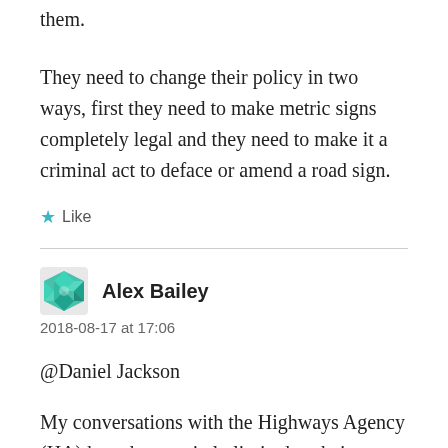them.
They need to change their policy in two ways, first they need to make metric signs completely legal and they need to make it a criminal act to deface or amend a road sign.
★ Like
Alex Bailey
2018-08-17 at 17:06
@Daniel Jackson
My conversations with the Highways Agency (HA) have been strictly limited to their